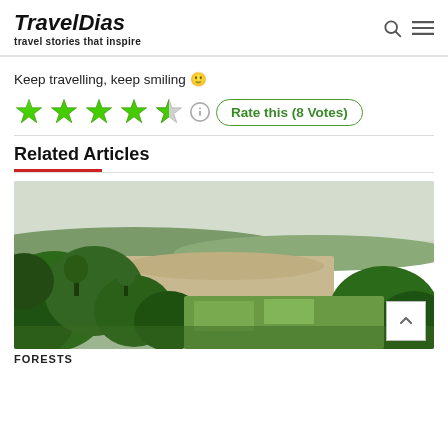TravelDias — travel stories that inspire
Keep travelling, keep smiling 🙂
[Figure (other): Star rating widget: 4.5 green stars, info icon, and 'Rate this (8 Votes)' button]
Related Articles
[Figure (photo): Aerial/elevated view of a forested landscape with a river valley and green fields under a hazy sky]
FORESTS